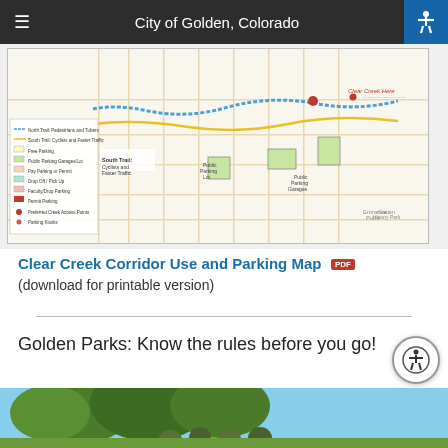City of Golden, Colorado
[Figure (map): Clear Creek Corridor Use and Parking Map showing trail designations (North Trail: Pedestrians and Tubers, South Trail: Cyclists and Faster Traffic), parking areas (Free Parking, Public Parking Garages/Lot, Pay Parking or Permit, Drop Off/Pick Up, Faculty/Drop Parking, Permit Parking), Preferred Creek Access Points, and Parking Hooks. Shows street grid of downtown Golden with Clear Creek running through.]
Clear Creek Corridor Use and Parking Map PDF
(download for printable version)
Golden Parks: Know the rules before you go!
[Figure (photo): Photo of people standing outdoors under trees in a park in Golden, Colorado.]